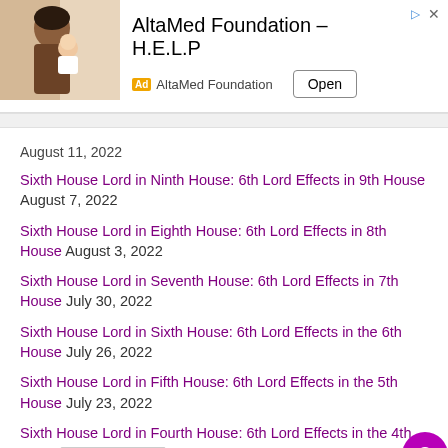[Figure (other): Advertisement banner: AltaMed Foundation – H.E.L.P with photo of woman holding baby, Ad badge, AltaMed Foundation text, and Open button]
August 11, 2022
Sixth House Lord in Ninth House: 6th Lord Effects in 9th House August 7, 2022
Sixth House Lord in Eighth House: 6th Lord Effects in 8th House August 3, 2022
Sixth House Lord in Seventh House: 6th Lord Effects in 7th House July 30, 2022
Sixth House Lord in Sixth House: 6th Lord Effects in the 6th House July 26, 2022
Sixth House Lord in Fifth House: 6th Lord Effects in the 5th House July 23, 2022
Sixth House Lord in Fourth House: 6th Lord Effects in the 4th House July 19, 2022